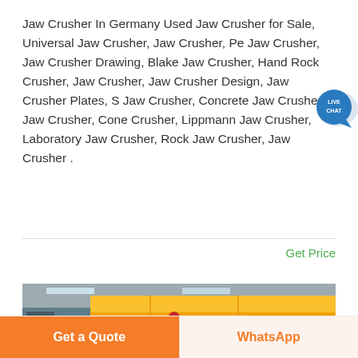Jaw Crusher In Germany Used Jaw Crusher for Sale, Universal Jaw Crusher, Jaw Crusher, Pe Jaw Crusher, Jaw Crusher Drawing, Blake Jaw Crusher, Hand Rock Crusher, Jaw Crusher, Jaw Crusher Design, Jaw Crusher Plates, S Jaw Crusher, Concrete Jaw Crusher, Jaw Crusher, Cone Crusher, Lippmann Jaw Crusher, Laboratory Jaw Crusher, Rock Jaw Crusher, Jaw Crusher .
[Figure (other): Live Chat bubble icon in dark blue/teal circle with speech bubble tail]
Get Price
[Figure (photo): Industrial photo of a large yellow jaw crusher machine inside a factory, with a worker wearing a white hard hat standing in front]
Get a Quote
WhatsApp